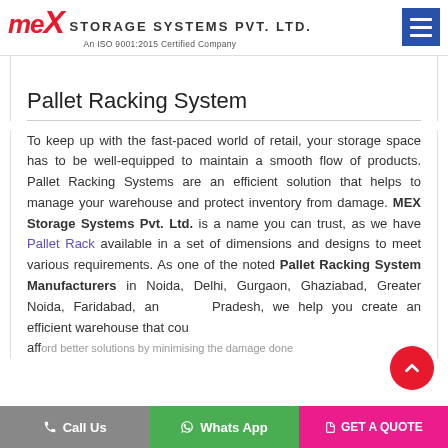MEX STORAGE SYSTEMS PVT. LTD. — An ISO 9001:2015 Certified Company
Pallet Racking System
To keep up with the fast-paced world of retail, your storage space has to be well-equipped to maintain a smooth flow of products. Pallet Racking Systems are an efficient solution that helps to manage your warehouse and protect inventory from damage. MEX Storage Systems Pvt. Ltd. is a name you can trust, as we have Pallet Rack available in a set of dimensions and designs to meet various requirements. As one of the noted Pallet Racking System Manufacturers in Noida, Delhi, Gurgaon, Ghaziabad, Greater Noida, Faridabad, and Uttar Pradesh, we help you create an efficient warehouse that could afford better...
Call Us | Whats App | GET A QUOTE